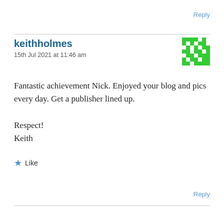Reply
keithholmes
15th Jul 2021 at 11:46 am
[Figure (illustration): Green pixelated avatar/identicon square pattern]
Fantastic achievement Nick. Enjoyed your blog and pics every day. Get a publisher lined up.

Respect!
Keith
Like
Reply